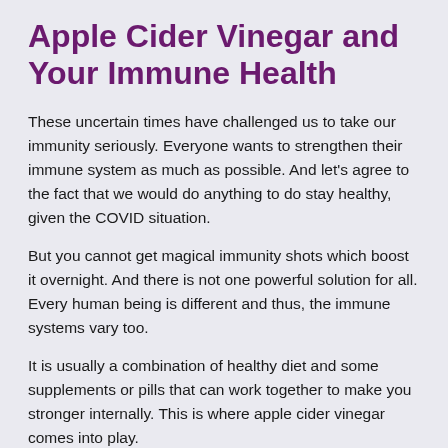Apple Cider Vinegar and Your Immune Health
These uncertain times have challenged us to take our immunity seriously. Everyone wants to strengthen their immune system as much as possible. And let’s agree to the fact that we would do anything to do stay healthy, given the COVID situation.
But you cannot get magical immunity shots which boost it overnight. And there is not one powerful solution for all. Every human being is different and thus, the immune systems vary too.
It is usually a combination of healthy diet and some supplements or pills that can work together to make you stronger internally. This is where apple cider vinegar comes into play.
ACV has received a lot of attention in the health and fitness world. As a result, ACV pills have seen a big rise in the market. ACV Pills make it easier for people to take apple cider vinegar,